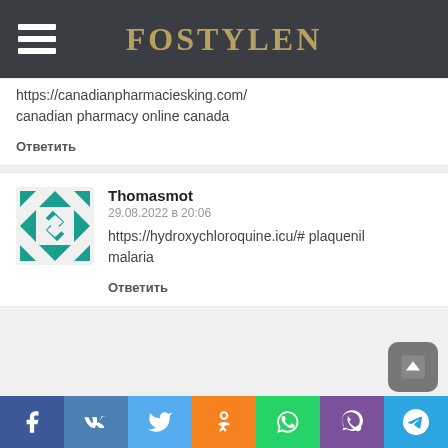FOSTYLEN
https://canadianpharmaciesking.com/ canadian pharmacy online canada
Ответить
[Figure (illustration): Decorative avatar icon — geometric teal/green diamond pattern]
Thomasmot
29.08.2022 в 20:06
https://hydroxychloroquine.icu/# plaquenil malaria
Ответить
Social share bar: Facebook, VK, Twitter, Odnoklassniki, WhatsApp, Viber, Telegram